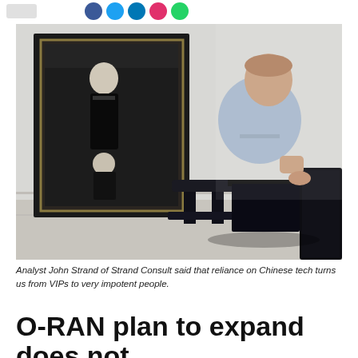[Figure (photo): A man in a light blue shirt leans against a chair in an office setting with a large black-and-white portrait painting on the wall behind him. The painting shows two figures. The room has white walls and wainscoting.]
Analyst John Strand of Strand Consult said that reliance on Chinese tech turns us from VIPs to very impotent people.
O-RAN plan to expand does not